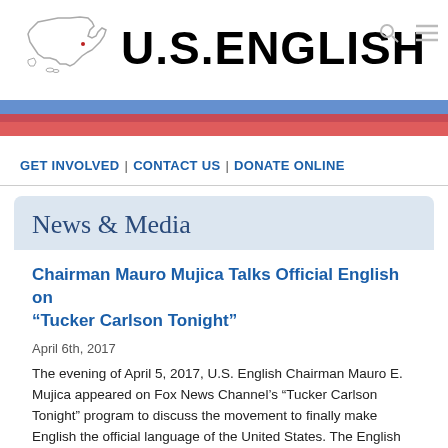[Figure (logo): U.S. English logo with outline map of the United States and bold black text reading U.S.ENGLISH, with red and blue diagonal stripes]
GET INVOLVED | CONTACT US | DONATE ONLINE
News & Media
Chairman Mauro Mujica Talks Official English on “Tucker Carlson Tonight”
April 6th, 2017
The evening of April 5, 2017, U.S. English Chairman Mauro E. Mujica appeared on Fox News Channel’s “Tucker Carlson Tonight” program to discuss the movement to finally make English the official language of the United States. The English Language Unity Act of 2017 has been introduced in the House and Senate as H.R. 997 and S. 678. Visit our Action Center to